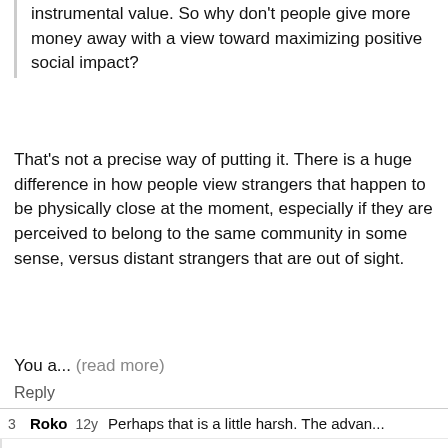instrumental value. So why don't people give more money away with a view toward maximizing positive social impact?
That's not a precise way of putting it. There is a huge difference in how people view strangers that happen to be physically close at the moment, especially if they are perceived to belong to the same community in some sense, versus distant strangers that are out of sight.
You a... (read more)
Reply
3  Roko  12y  Perhaps that is a little harsh. The advan...
2  Vladimir_M  12y  Roko: To be precise, I said that ...
5  Roko  12y  So if I ever need to defeat you, forget...
5  Vladimir_M  12y  Nah, that wouldn't deter me. I...
1  multifoliaterose  12y  (a) I agree that Singer somet...
7  Vladimir_M  12y  multifoliaterose: Maybe I should ...
7  NancyLebovitz  12y  The odd thing is that the w...